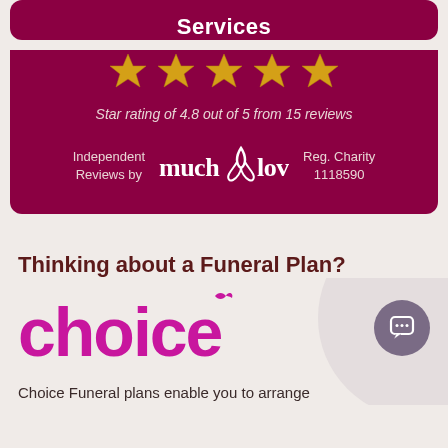Services
[Figure (other): Five gold stars rating display]
Star rating of 4.8 out of 5 from 15 reviews
[Figure (logo): Independent Reviews by much loved logo, Reg. Charity 1118590]
Thinking about a Funeral Plan?
[Figure (logo): Choice funeral plans logo in magenta/pink]
Choice Funeral plans enable you to arrange